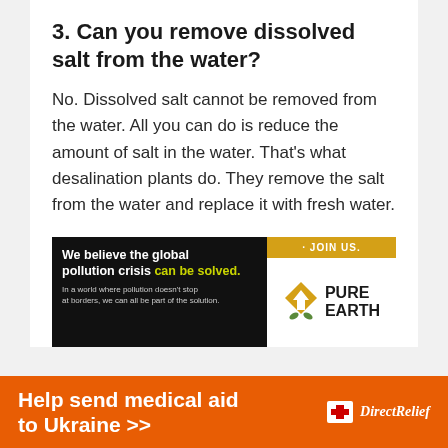3. Can you remove dissolved salt from the water?
No. Dissolved salt cannot be removed from the water. All you can do is reduce the amount of salt in the water. That's what desalination plants do. They remove the salt from the water and replace it with fresh water.
[Figure (infographic): Pure Earth advertisement banner. Left side: black background with text 'We believe the global pollution crisis can be solved.' and subtext 'In a world where pollution doesn't stop at borders, we can all be part of the solution.' Right side: white background with golden 'JOIN US.' bar at top and Pure Earth logo with diamond/arrow icon.]
[Figure (infographic): Orange banner advertisement: 'Help send medical aid to Ukraine >>' with Direct Relief logo on the right.]